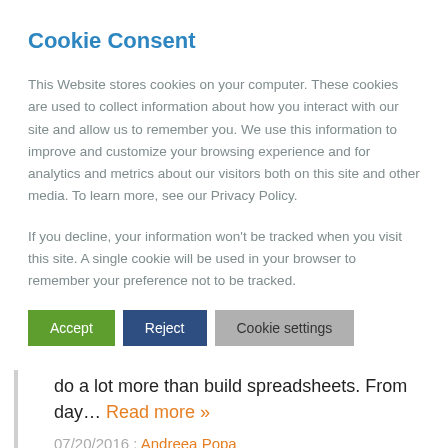Cookie Consent
This Website stores cookies on your computer. These cookies are used to collect information about how you interact with our site and allow us to remember you. We use this information to improve and customize your browsing experience and for analytics and metrics about our visitors both on this site and other media. To learn more, see our Privacy Policy.
If you decline, your information won't be tracked when you visit this site. A single cookie will be used in your browser to remember your preference not to be tracked.
Accept | Reject | Cookie settings
individuals who want to make a difference and do a lot more than build spreadsheets. From day… Read more »
07/20/2016 : Andreea Popa